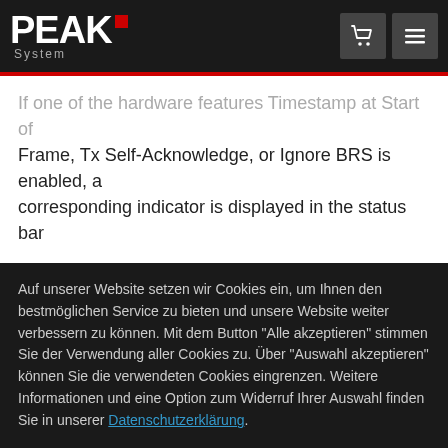PEAK System
If one of the hardware features Timestamp at Start of Frame, Tx Self-Acknowledge, or Ignore BRS is enabled, a corresponding indicator is displayed in the status bar
Auf unserer Website setzen wir Cookies ein, um Ihnen den bestmöglichen Service zu bieten und unsere Website weiter verbessern zu können. Mit dem Button "Alle akzeptieren" stimmen Sie der Verwendung aller Cookies zu. Über "Auswahl akzeptieren" können Sie die verwendeten Cookies eingrenzen. Weitere Informationen und eine Option zum Widerruf Ihrer Auswahl finden Sie in unserer Datenschutzerklärung.
Notwendig
Statistik
Mehr
Auswahl Akzeptieren
Alle Akzeptieren